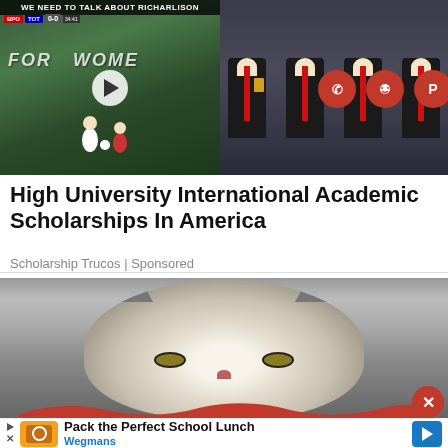[Figure (screenshot): Video thumbnail of soccer/football match with title 'We Need To Talk About Richarlison' and a play button overlay, alongside a photo of graduation ceremony with students in black robes, plus social sharing icons for WhatsApp, Reddit, and Pinterest]
High University International Academic Scholarships In America
Scholarship Trucos | Sponsored
[Figure (photo): Close-up photo of a grumpy-looking Persian cat with white/grey fur and yellow-green eyes, with a red wave overlay at the bottom and a close button]
[Figure (infographic): Advertisement bar: Pack the Perfect School Lunch - Wegmans, with orange logo, blue navigation arrow]